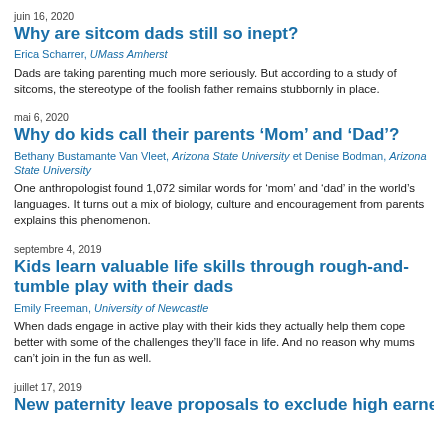juin 16, 2020
Why are sitcom dads still so inept?
Erica Scharrer, UMass Amherst
Dads are taking parenting much more seriously. But according to a study of sitcoms, the stereotype of the foolish father remains stubbornly in place.
mai 6, 2020
Why do kids call their parents ‘Mom’ and ‘Dad’?
Bethany Bustamante Van Vleet, Arizona State University et Denise Bodman, Arizona State University
One anthropologist found 1,072 similar words for ‘mom’ and ‘dad’ in the world’s languages. It turns out a mix of biology, culture and encouragement from parents explains this phenomenon.
septembre 4, 2019
Kids learn valuable life skills through rough-and-tumble play with their dads
Emily Freeman, University of Newcastle
When dads engage in active play with their kids they actually help them cope better with some of the challenges they’ll face in life. And no reason why mums can’t join in the fun as well.
juillet 17, 2019
New paternity leave proposals to exclude high earners